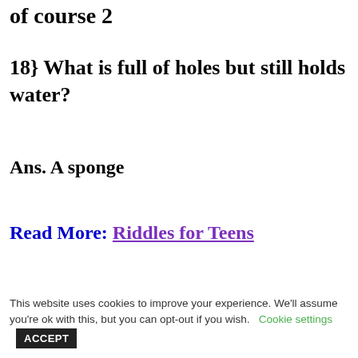of course 2
18} What is full of holes but still holds water?
Ans. A sponge
Read More: Riddles for Teens
This website uses cookies to improve your experience. We'll assume you're ok with this, but you can opt-out if you wish. Cookie settings ACCEPT